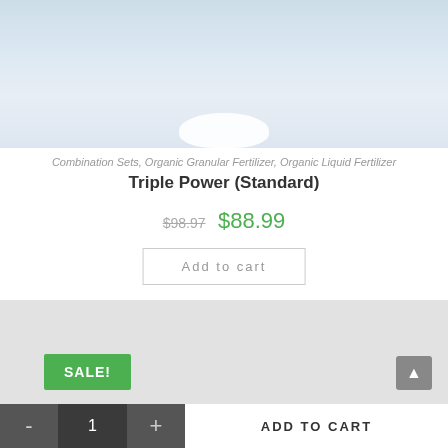[Figure (photo): Product photo showing a white bowl or container on a light blue/white background, top portion cropped]
Combination Sets, Organic Granular Fertilizer, Organic Liquid Fertilizer
Triple Power (Standard)
$98.97 $88.99
Add to cart
[Figure (photo): Second product image on gray background with SALE! badge]
SALE!
ADD TO CART
1